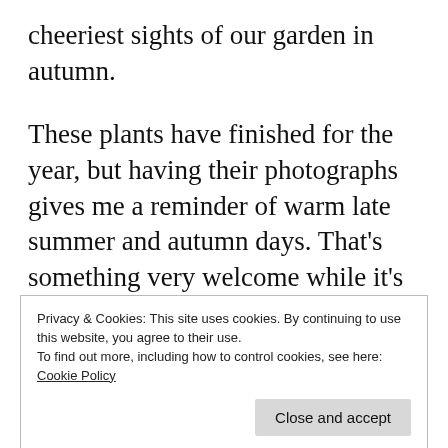cheeriest sights of our garden in autumn.
These plants have finished for the year, but having their photographs gives me a reminder of warm late summer and autumn days. That’s something very welcome while it’s raining and the wind is stripping the leaves from the trees
Even now, though, there is a scattering of
Privacy & Cookies: This site uses cookies. By continuing to use this website, you agree to their use.
To find out more, including how to control cookies, see here: Cookie Policy
Close and accept
the right my patio solarannum